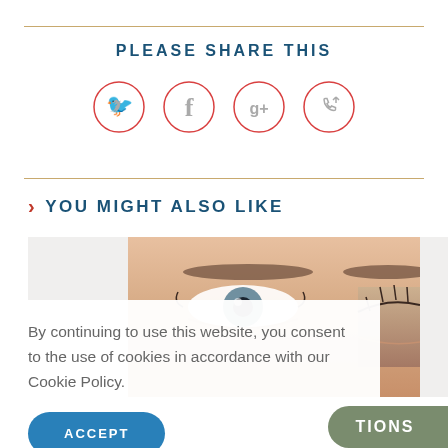PLEASE SHARE THIS
[Figure (illustration): Four social media share icons in red circle outlines: Twitter bird, Facebook f, Google+ g+, and phone/share icon]
> YOU MIGHT ALSO LIKE
[Figure (photo): Close-up photo of a person's eyes and eyebrows against a neutral background]
By continuing to use this website, you consent to the use of cookies in accordance with our Cookie Policy.
ACCEPT
TIONS